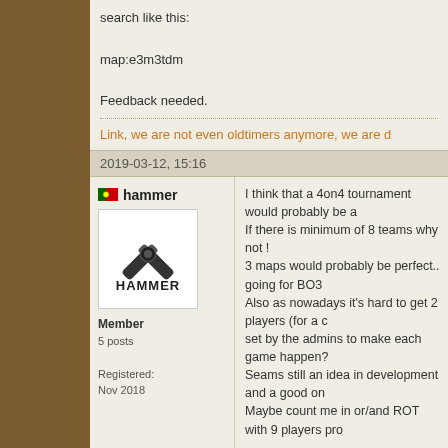search like this:

map:e3m3tdm

Feedback needed.
Link, we are not even oldtimers anymore, we are d
2019-03-12, 15:16
hammer
[Figure (logo): Hammer logo with crossed pistons and HAMMER text]
Member
5 posts

Registered:
Nov 2018
I think that a 4on4 tournament would probably be a
If there is minimum of 8 teams why not !
3 maps would probably be perfect.. going for BO3
Also as nowadays it's hard to get 2 players (for a c
set by the admins to make each game happen?
Seams still an idea in development and a good on
Maybe count me in or/and ROT with 9 players pro
IT'S HAMMER TIME !!
2019-03-12, 16:16
Link
So 2 teams for ROT?